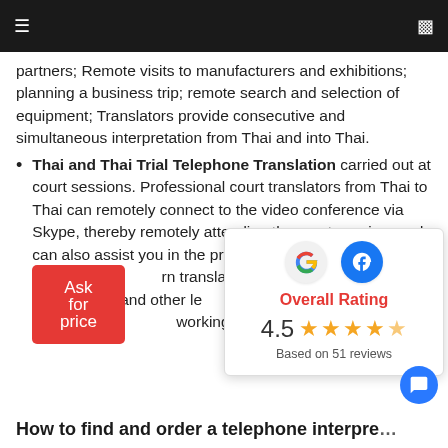≡  ▭
partners; Remote visits to manufacturers and exhibitions; planning a business trip; remote search and selection of equipment; Translators provide consecutive and simultaneous interpretation from Thai and into Thai.
Thai and Thai Trial Telephone Translation carried out at court sessions. Professional court translators from Thai to Thai can remotely connect to the video conference via Skype, thereby remotely attending the court session, and can also assist you in the preparation of legal mate... rn translators are also prov... transactions and other le... issues in police stations,... working with foreigners.
[Figure (infographic): Rating popup showing Google and Facebook logos, Overall Rating in red, 4.5 stars (orange), Based on 51 reviews]
Ask for price
How to find and order a telephone interpre…